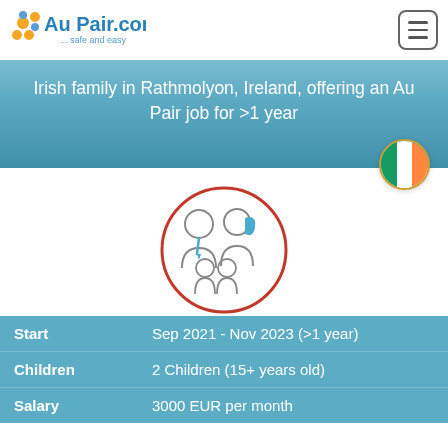AuPair.com ... safe and easy
Irish family in Rathmolyon, Ireland, offering an Au Pair job for >1 year
[Figure (illustration): Family icon illustration inside a red circle showing two adults and two children silhouettes, with blue accent on female figure's hair and male figure's tie]
| Start | Sep 2021 - Nov 2023 (>1 year) |
| Children | 2 Children (15+ years old) |
| Salary | 3000 EUR per month |